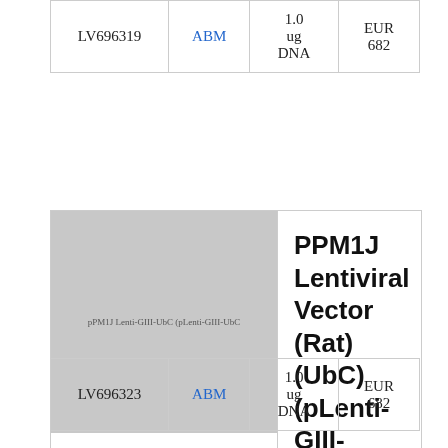| LV696319 | ABM | 1.0 ug DNA | EUR 682 |
[Figure (photo): Product image placeholder for PPM1J Lentiviral Vector (Rat) (UbC) (pLenti-GIII-UbC) showing a greyed-out image with a URL-like text overlay]
PPM1J Lentiviral Vector (Rat) (UbC) (pLenti-GIII-UbC)
| LV696323 | ABM | 1.0 ug DNA | EUR 682 |